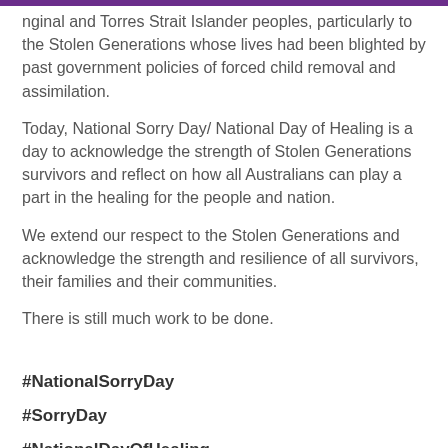…nginal and Torres Strait Islander peoples, particularly to the Stolen Generations whose lives had been blighted by past government policies of forced child removal and assimilation.
Today, National Sorry Day/ National Day of Healing is a day to acknowledge the strength of Stolen Generations survivors and reflect on how all Australians can play a part in the healing for the people and nation.
We extend our respect to the Stolen Generations and acknowledge the strength and resilience of all survivors, their families and their communities.
There is still much work to be done.
#NationalSorryDay
#SorryDay
#NationalDayOfHealing